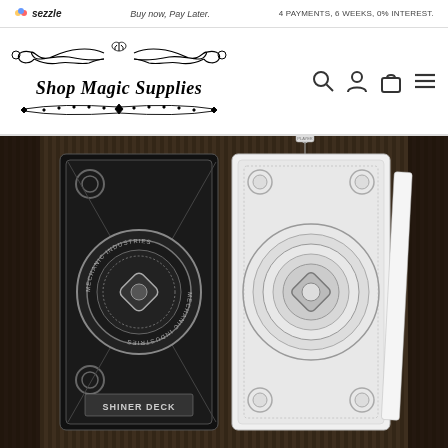sezzle | Buy now, Pay Later. | 4 PAYMENTS, 6 WEEKS, 0% INTEREST.
[Figure (logo): Shop Magic Supplies ornate gothic logo with decorative flourishes and scrollwork]
[Figure (photo): Two Mechanic Industries Shiner Deck playing card decks displayed against a striped background — one black deck face-down and one white deck face-down showing ornate gear/industrial card back designs]